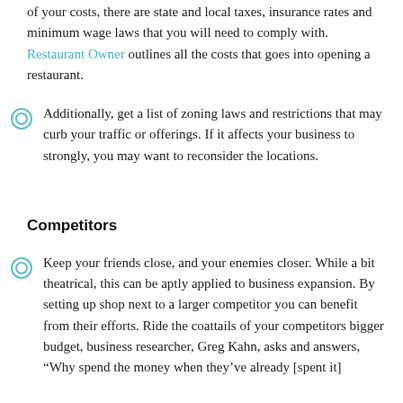of your costs, there are state and local taxes, insurance rates and minimum wage laws that you will need to comply with. Restaurant Owner outlines all the costs that goes into opening a restaurant.
Additionally, get a list of zoning laws and restrictions that may curb your traffic or offerings. If it affects your business to strongly, you may want to reconsider the locations.
Competitors
Keep your friends close, and your enemies closer. While a bit theatrical, this can be aptly applied to business expansion. By setting up shop next to a larger competitor you can benefit from their efforts. Ride the coattails of your competitors bigger budget, business researcher, Greg Kahn, asks and answers, "Why spend the money when they've already [spent it]